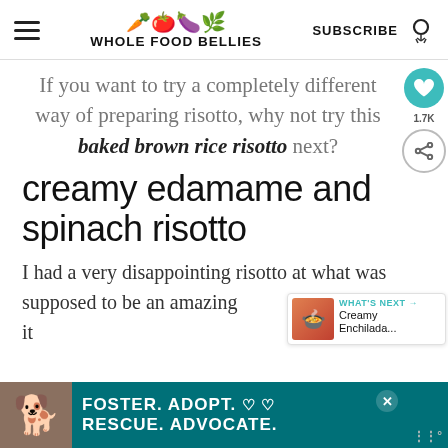WHOLE FOOD BELLIES — with Subscribe and search icons
If you want to try a completely different way of preparing risotto, why not try this baked brown rice risotto next?
creamy edamame and spinach risotto
I had a very disappointing risotto at what was supposed to be an amazing it...
[Figure (other): What's Next widget showing Creamy Enchilada... with food bowl image]
[Figure (other): Foster. Adopt. Rescue. Advocate. advertisement banner with dog photo]